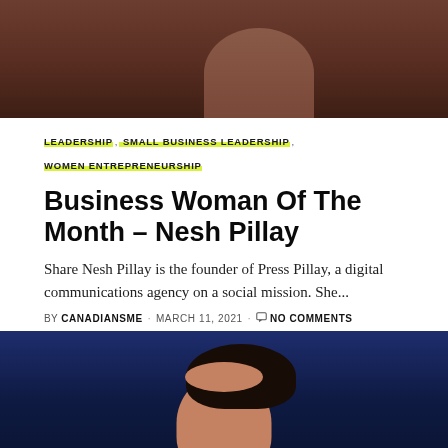[Figure (photo): Top portion of a person wearing a brown/mauve outfit, cropped at shoulders, brown background]
LEADERSHIP, SMALL BUSINESS LEADERSHIP, WOMEN ENTREPRENEURSHIP
Business Woman Of The Month – Nesh Pillay
Share Nesh Pillay is the founder of Press Pillay, a digital communications agency on a social mission. She...
BY CANADIANSME · MARCH 11, 2021 · NO COMMENTS
[Figure (photo): Headshot of Nesh Pillay against a dark navy blue background, dark hair, face partially visible]
182 Share | Facebook 182 | Pinterest | Twitter | Email | LinkedIn